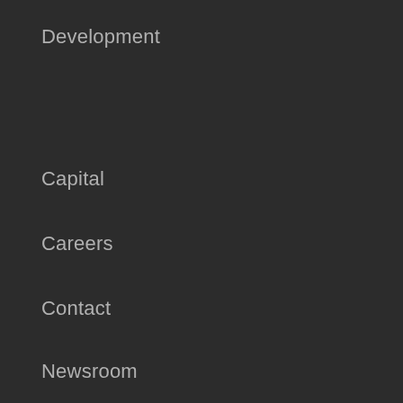Development
Capital
Careers
Contact
Newsroom